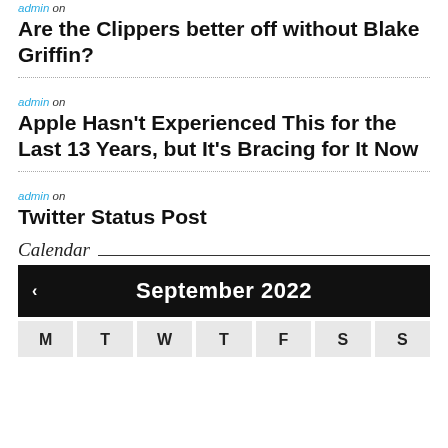admin on
Are the Clippers better off without Blake Griffin?
admin on
Apple Hasn't Experienced This for the Last 13 Years, but It's Bracing for It Now
admin on
Twitter Status Post
Calendar
| M | T | W | T | F | S | S |
| --- | --- | --- | --- | --- | --- | --- |